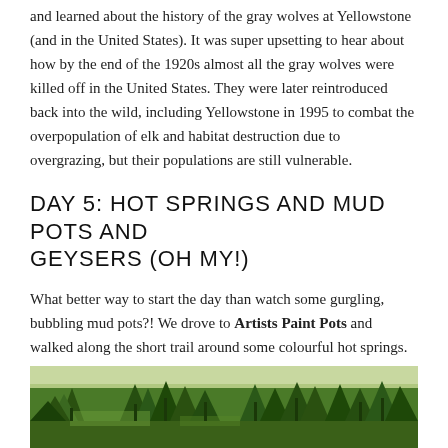and learned about the history of the gray wolves at Yellowstone (and in the United States). It was super upsetting to hear about how by the end of the 1920s almost all the gray wolves were killed off in the United States. They were later reintroduced back into the wild, including Yellowstone in 1995 to combat the overpopulation of elk and habitat destruction due to overgrazing, but their populations are still vulnerable.
DAY 5: HOT SPRINGS AND MUD POTS AND GEYSERS (OH MY!)
What better way to start the day than watch some gurgling, bubbling mud pots?! We drove to Artists Paint Pots and walked along the short trail around some colourful hot springs.
[Figure (photo): Landscape photo of a forested area with evergreen trees at Yellowstone, showing a river or open area in the foreground and dense tree line in the background.]